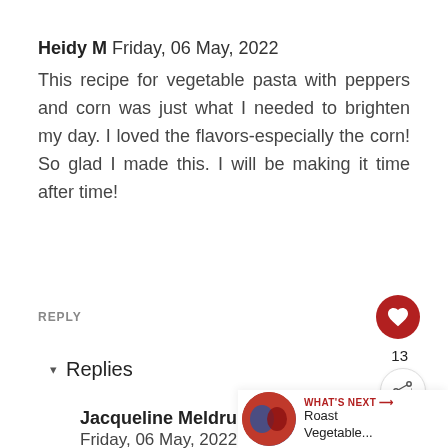Heidy M Friday, 06 May, 2022
This recipe for vegetable pasta with peppers and corn was just what I needed to brighten my day. I loved the flavors-especially the corn! So glad I made this. I will be making it time after time!
REPLY
13
▾ Replies
Jacqueline Meldrum ✔ Friday, 06 May, 2022
That is lovely to hear and yes we love corn too. It gives such a lovely pop of
WHAT'S NEXT → Roast Vegetable...